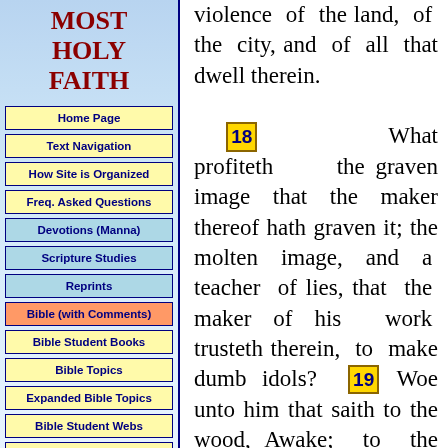MOST HOLY FAITH
Home Page
Text Navigation
How Site is Organized
Freq. Asked Questions
Devotions (Manna)
Scripture Studies
Reprints
Bible (with Comments)
Bible Student Books
Bible Topics
Expanded Bible Topics
Bible Student Webs
Miscellaneous
violence of the land, of the city, and of all that dwell therein. 18 What profiteth the graven image that the maker thereof hath graven it; the molten image, and a teacher of lies, that the maker of his work trusteth therein, to make dumb idols? 19 Woe unto him that saith to the wood, Awake; to the dumb stone, Arise, it shall